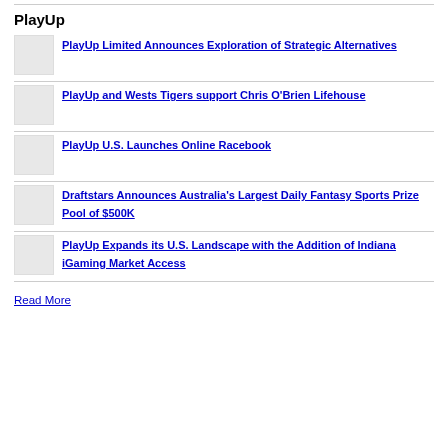PlayUp
PlayUp Limited Announces Exploration of Strategic Alternatives
PlayUp and Wests Tigers support Chris O'Brien Lifehouse
PlayUp U.S. Launches Online Racebook
Draftstars Announces Australia's Largest Daily Fantasy Sports Prize Pool of $500K
PlayUp Expands its U.S. Landscape with the Addition of Indiana iGaming Market Access
Read More